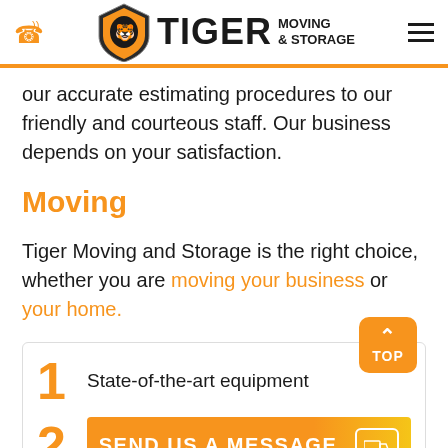Tiger Moving & Storage
our accurate estimating procedures to our friendly and courteous staff. Our business depends on your satisfaction.
Moving
Tiger Moving and Storage is the right choice, whether you are moving your business or your home.
1  State-of-the-art equipment
2  SEND US A MESSAGE